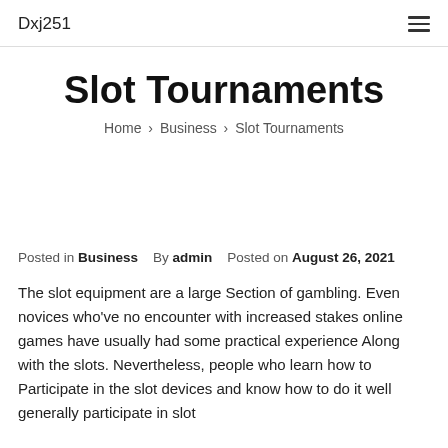Dxj251
Slot Tournaments
Home › Business › Slot Tournaments
Posted in Business   By admin   Posted on August 26, 2021
The slot equipment are a large Section of gambling. Even novices who've no encounter with increased stakes online games have usually had some practical experience Along with the slots. Nevertheless, people who learn how to Participate in the slot devices and know how to do it well generally participate in slot